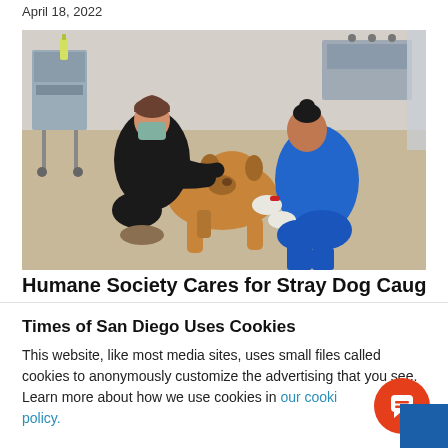April 18, 2022
[Figure (photo): Two veterinary workers, one in a black hoodie and mask and one in blue scrubs, kneeling on a clinic floor attending to a medium-sized brown dog in a veterinary setting with metal carts and equipment in the background.]
Humane Society Cares for Stray Dog Caught
Times of San Diego Uses Cookies
This website, like most media sites, uses small files called cookies to anonymously customize the advertising that you see. Learn more about how we use cookies in our cookie policy.